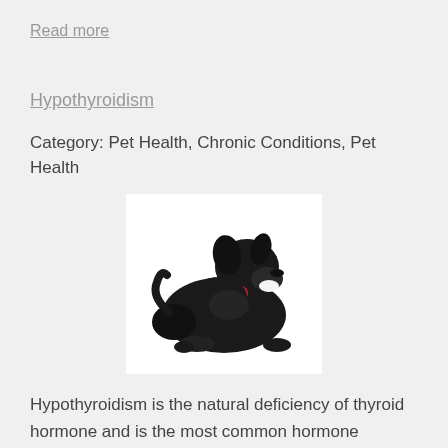Read more
Hypothyroidism
Category: Pet Health, Chronic Conditions, Pet Health
[Figure (photo): A black Labrador dog lying down on a white background, looking at the camera with its mouth slightly open, wearing a red collar tag.]
Hypothyroidism is the natural deficiency of thyroid hormone and is the most common hormone imbalance of dogs. This deficiency is produced by several different mechanisms. The most common cause (at least 95% of cases) is immune destruction